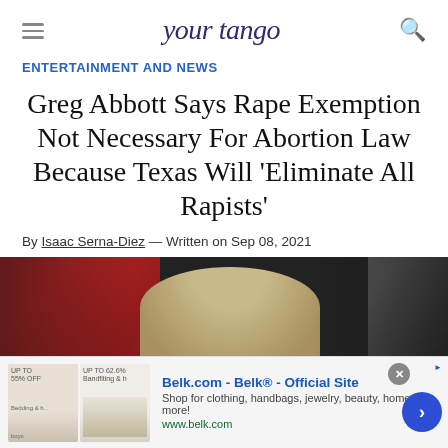YourTango
ENTERTAINMENT AND NEWS
Greg Abbott Says Rape Exemption Not Necessary For Abortion Law Because Texas Will 'Eliminate All Rapists'
By Isaac Serna-Diez — Written on Sep 08, 2021
[Figure (photo): Photo of people including Greg Abbott, partially visible, dark background]
[Figure (screenshot): Advertisement for Belk.com - Belk Official Site. Shop for clothing, handbags, jewelry, beauty, home & more! www.belk.com]